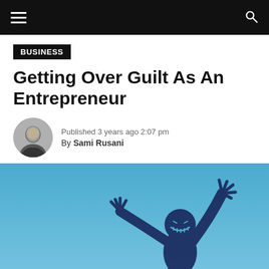Navigation bar with hamburger menu and search icon
BUSINESS
Getting Over Guilt As An Entrepreneur
Published 3 years ago 2:07 pm By Sami Rusani
[Figure (illustration): Blue background illustration of a dark navy silhouette of a person with arms raised, wearing a jack-o-lantern or grinning demon face mask, with another smaller character below. The background is a gradient of sky blue.]